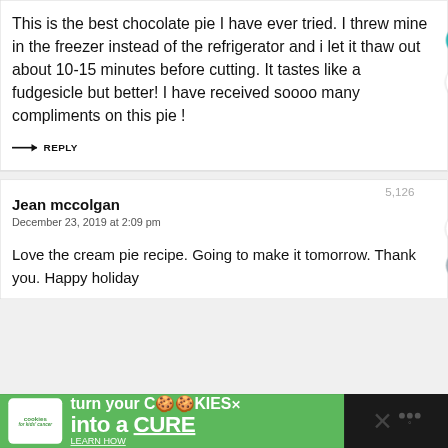This is the best chocolate pie I have ever tried. I threw mine in the freezer instead of the refrigerator and i let it thaw out about 10-15 minutes before cutting. It tastes like a fudgesicle but better! I have received soooo many compliments on this pie !
→ REPLY
Jean mccolgan
December 23, 2019 at 2:09 pm
Love the cream pie recipe. Going to make it tomorrow. Thank you. Happy holiday
[Figure (screenshot): Ad banner: cookies for kids cancer - turn your COOKIES into a CURE LEARN HOW]